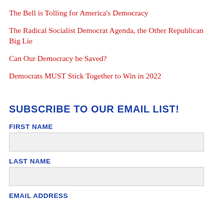The Bell is Tolling for America’s Democracy
The Radical Socialist Democrat Agenda, the Other Republican Big Lie
Can Our Democracy be Saved?
Democrats MUST Stick Together to Win in 2022
SUBSCRIBE TO OUR EMAIL LIST!
FIRST NAME
LAST NAME
EMAIL ADDRESS